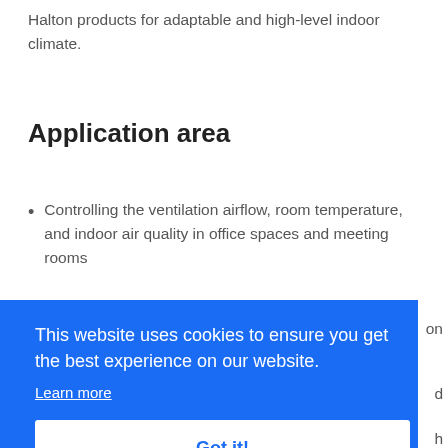Halton products for adaptable and high-level indoor climate.
Application area
Controlling the ventilation airflow, room temperature, and indoor air quality in office spaces and meeting rooms
This website uses cookies to ensure you get the best experience on our website.
Learn more
Got it!